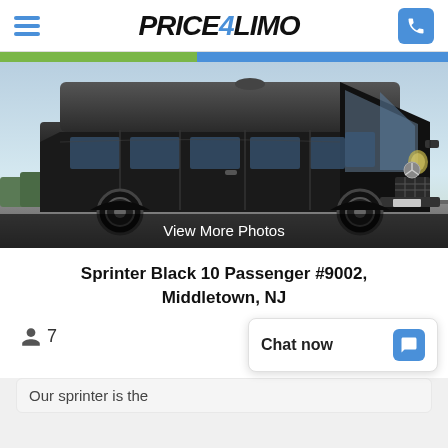Price4Limo
[Figure (photo): Black Mercedes-Benz Sprinter van, 10 passenger, parked in a lot. View More Photos overlay at bottom.]
Sprinter Black 10 Passenger #9002, Middletown, NJ
7 passengers
Chat now
Our sprinter is the